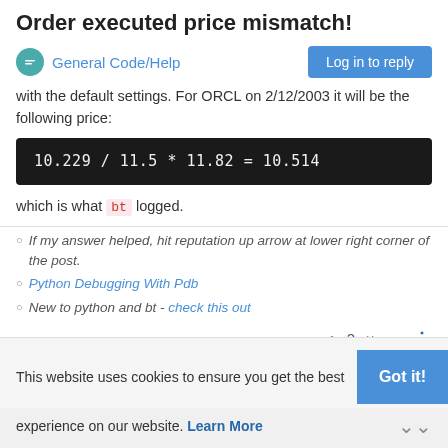Order executed price mismatch!
General Code/Help
with the default settings. For ORCL on 2/12/2003 it will be the following price:
which is what bt logged.
If my answer helped, hit reputation up arrow at lower right corner of the post.
Python Debugging With Pdb
New to python and bt - check this out
2
This website uses cookies to ensure you get the best experience on our website. Learn More